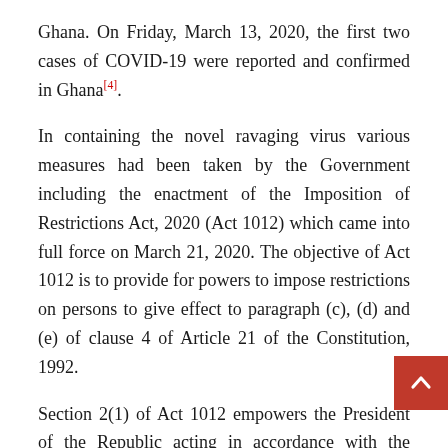Ghana. On Friday, March 13, 2020, the first two cases of COVID-19 were reported and confirmed in Ghana[4].
In containing the novel ravaging virus various measures had been taken by the Government including the enactment of the Imposition of Restrictions Act, 2020 (Act 1012) which came into full force on March 21, 2020. The objective of Act 1012 is to provide for powers to impose restrictions on persons to give effect to paragraph (c), (d) and (e) of clause 4 of Article 21 of the Constitution, 1992.
Section 2(1) of Act 1012 empowers the President of the Republic acting in accordance with the advice of the relevant person or body by Executive Instrument, imposing restrictions specified in paragraph (c), (d) and (e) of clause (4) of Article 21 of the Constitution, 1992. The instrument made shall include provisions in respect of: